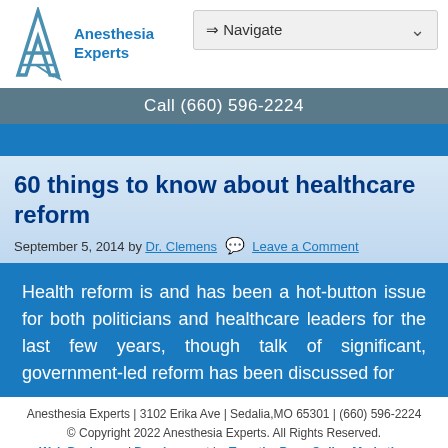Anesthesia Experts
⇒ Navigate
Call (660) 596-2224
60 things to know about healthcare reform
September 5, 2014 by Dr. Clemens   Leave a Comment
Health reform is and has been a hot-button issue for both politicians and healthcare leaders for the last few years, though talk of significant, government-led reform has been discussed for
Anesthesia Experts | 3102 Erika Ave | Sedalia,MO 65301 | (660) 596-2224
© Copyright 2022 Anesthesia Experts. All Rights Reserved.
Web Design and Development by Turn the Page Online Marketing
What people thought about us ⓘ